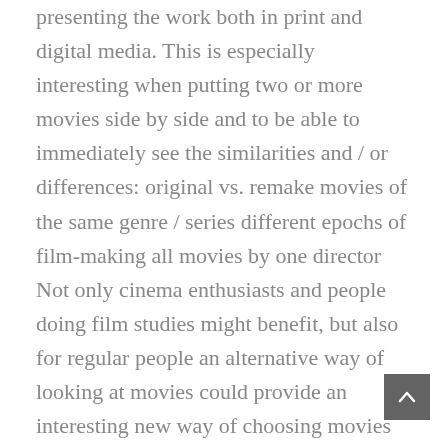presenting the work both in print and digital media. This is especially interesting when putting two or more movies side by side and to be able to immediately see the similarities and / or differences: original vs. remake movies of the same genre / series different epochs of film-making all movies by one director Not only cinema enthusiasts and people doing film studies might benefit, but also for regular people an alternative way of looking at movies could provide an interesting new way of choosing movies based on formal criteria. For instance: “I don’t want to see the dark one with lots of motion, that colorful one with the great amount of spoken words looks much more interesting to me.” cinemetrics is an experiment to find out if the data that is